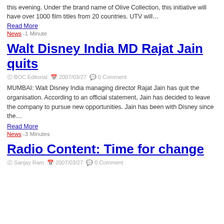this evening. Under the brand name of Olive Collection, this initiative will have over 1000 film titles from 20 countries. UTV will...
Read More
News -1 Minute
Walt Disney India MD Rajat Jain quits
BOC Editorial  2007/03/27  0 Comment
MUMBAI: Walt Disney India managing director Rajat Jain has quit the organisation. According to an official statement, Jain has decided to leave the company to pursue new opportunities. Jain has been with Disney since the...
Read More
News -3 Minutes
Radio Content: Time for change
Sanjay Ram  2007/03/27  0 Comment